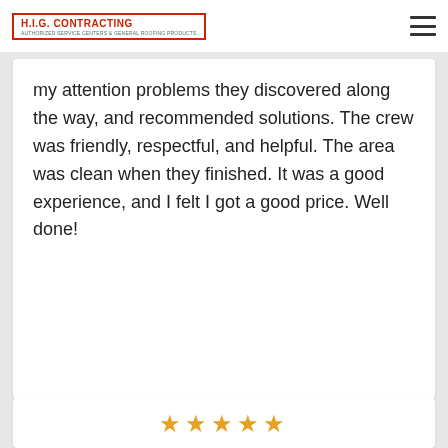H.I.G. Contracting
my attention problems they discovered along the way, and recommended solutions. The crew was friendly, respectful, and helpful. The area was clean when they finished. It was a good experience, and I felt I got a good price. Well done!
[Figure (other): Five gold star rating icons]